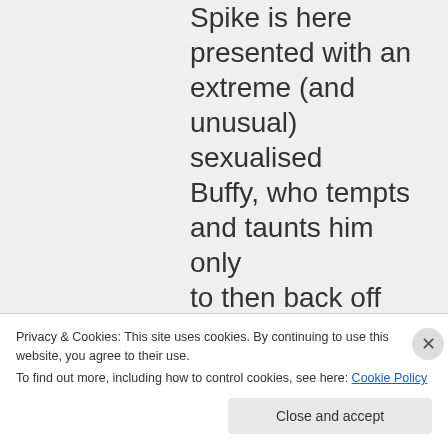Spike is here presented with an extreme (and unusual) sexualised Buffy, who tempts and taunts him only to then back off and show no similar traits again so far. He's never even been informed of the
Privacy & Cookies: This site uses cookies. By continuing to use this website, you agree to their use. To find out more, including how to control cookies, see here: Cookie Policy
Close and accept